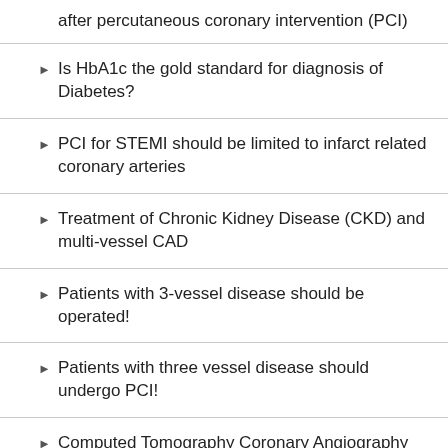after percutaneous coronary intervention (PCI)
Is HbA1c the gold standard for diagnosis of Diabetes?
PCI for STEMI should be limited to infarct related coronary arteries
Treatment of Chronic Kidney Disease (CKD) and multi-vessel CAD
Patients with 3-vessel disease should be operated!
Patients with three vessel disease should undergo PCI!
Computed Tomography Coronary Angiography (CTCA) screening for Coronary Artery Disease